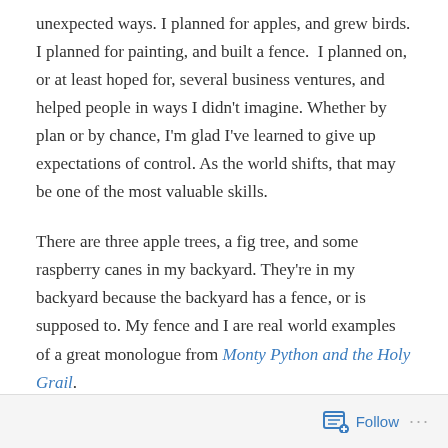unexpected ways. I planned for apples, and grew birds. I planned for painting, and built a fence.  I planned on, or at least hoped for, several business ventures, and helped people in ways I didn't imagine. Whether by plan or by chance, I'm glad I've learned to give up expectations of control. As the world shifts, that may be one of the most valuable skills.
There are three apple trees, a fig tree, and some raspberry canes in my backyard. They're in my backyard because the backyard has a fence, or is supposed to. My fence and I are real world examples of a great monologue from Monty Python and the Holy Grail.
King of Swamp Castle: When I first came here, this was
Follow